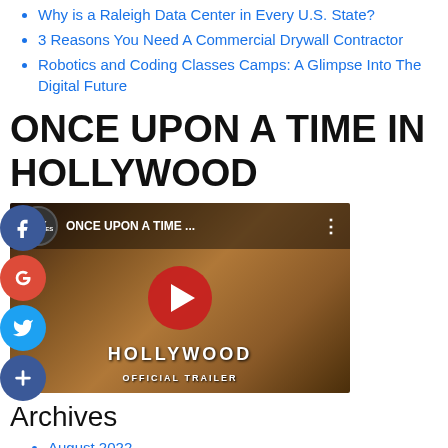Why is a Raleigh Data Center in Every U.S. State?
3 Reasons You Need A Commercial Drywall Contractor
Robotics and Coding Classes Camps: A Glimpse Into The Digital Future
ONCE UPON A TIME IN HOLLYWOOD
[Figure (screenshot): YouTube video thumbnail for 'Once Upon A Time In Hollywood' official trailer showing two men and a play button]
Archives
August 2022